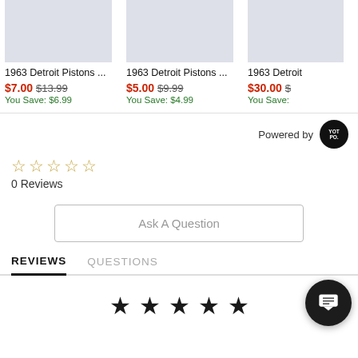[Figure (screenshot): Three product cards for 1963 Detroit Pistons merchandise showing product images, prices with discounts]
1963 Detroit Pistons ...
$7.00 $13.99
You Save: $6.99
1963 Detroit Pistons ...
$5.00 $9.99
You Save: $4.99
1963 Detroit ...
$30.00 $...
You Save: ...
Powered by YOTPO
0 Reviews
Ask A Question
REVIEWS    QUESTIONS
[Figure (illustration): Five filled black stars rating display at the bottom]